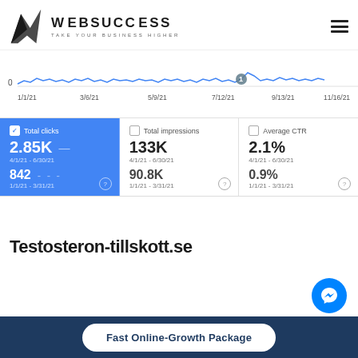[Figure (logo): WebSuccess logo with bird and text WEBSUCCESS TAKE YOUR BUSINESS HIGHER]
[Figure (line-chart): Google Search Console line chart showing clicks over time from 1/1/21 to 11/16/21 with dates on x-axis and values near 0]
[Figure (infographic): Metrics dashboard showing Total clicks (2.85K, 4/1/21-6/30/21; 842, 1/1/21-3/31/21), Total impressions (133K, 4/1/21-6/30/21; 90.8K, 1/1/21-3/31/21), Average CTR (2.1%, 4/1/21-6/30/21; 0.9%, 1/1/21-3/31/21)]
Testosteron-tillskott.se
Fast Online-Growth Package